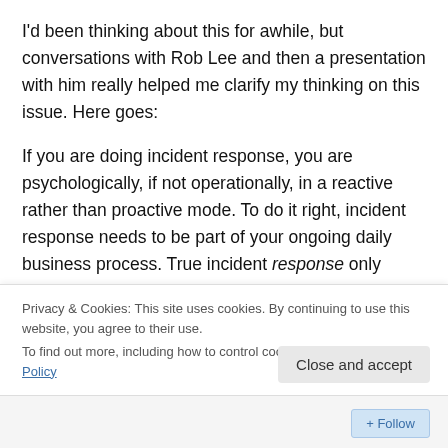I'd been thinking about this for awhile, but conversations with Rob Lee and then a presentation with him really helped me clarify my thinking on this issue. Here goes:
If you are doing incident response, you are psychologically, if not operationally, in a reactive rather than proactive mode. To do it right, incident response needs to be part of your ongoing daily business process. True incident response only occurs during major breaches. As part of your incident management, you proactively – days, months, even years in advance – address the
Privacy & Cookies: This site uses cookies. By continuing to use this website, you agree to their use.
To find out more, including how to control cookies, see here: Cookie Policy
Close and accept